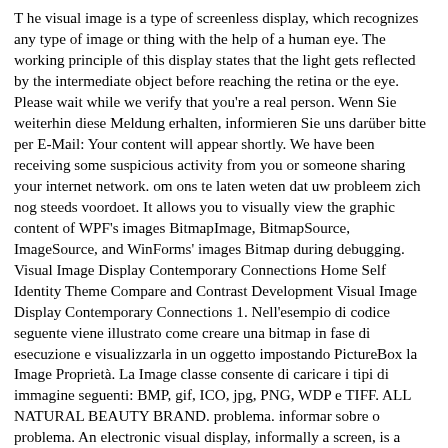T he visual image is a type of screenless display, which recognizes any type of image or thing with the help of a human eye. The working principle of this display states that the light gets reflected by the intermediate object before reaching the retina or the eye. Please wait while we verify that you're a real person. Wenn Sie weiterhin diese Meldung erhalten, informieren Sie uns darüber bitte per E-Mail: Your content will appear shortly. We have been receiving some suspicious activity from you or someone sharing your internet network. om ons te laten weten dat uw probleem zich nog steeds voordoet. It allows you to visually view the graphic content of WPF's images BitmapImage, BitmapSource, ImageSource, and WinForms' images Bitmap during debugging. Visual Image Display Contemporary Connections Home Self Identity Theme Compare and Contrast Development Visual Image Display Contemporary Connections 1. Nell'esempio di codice seguente viene illustrato come creare una bitmap in fase di esecuzione e visualizzarla in un oggetto impostando PictureBox la Image Proprietà. La Image classe consente di caricare i tipi di immagine seguenti: BMP, gif, ICO, jpg, PNG, WDP e TIFF. ALL NATURAL BEAUTY BRAND. problema. informar sobre o problema. An electronic visual display, informally a screen, is a display device for presentation of images, text, or video transmitted electronically, without producing a permanent record. Veuillez patienter pendant que nous vérifions que vous êtes une vraie personne. mientras verificamos que eres una persona real. I